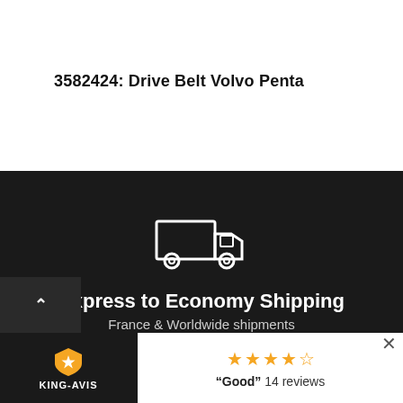3582424: Drive Belt Volvo Penta
[Figure (illustration): White outline icon of a delivery truck on dark background]
Express to Economy Shipping
France & Worldwide shipments
[Figure (illustration): White outline icon of an alarm clock on dark background]
[Figure (logo): King-Avis badge logo with shield icon and text KING-AVIS]
"Good" 14 reviews